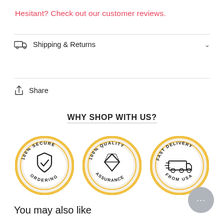Hesitant? Check out our customer reviews.
Shipping & Returns
Share
WHY SHOP WITH US?
[Figure (illustration): Three circular badge icons: 100% Secure Ordering (shield with checkmark), 100% Quality Assurance (diamond), Fast Delivery From USA (delivery truck)]
You may also like